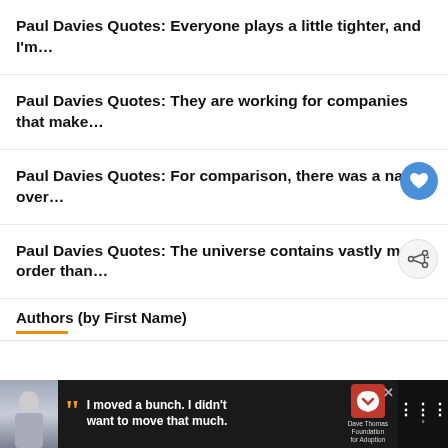Paul Davies Quotes: Everyone plays a little tighter, and I'm…
Paul Davies Quotes: They are working for companies that make…
Paul Davies Quotes: For comparison, there was a nation over…
Paul Davies Quotes: The universe contains vastly more order than…
Authors (by First Name)
[Figure (infographic): Advertisement banner: Dave Thomas Foundation for Adoption. Image of a boy, large quotation marks, text 'I moved a bunch. I didn't want to move that much.' with logo and brand mark on dark background.]